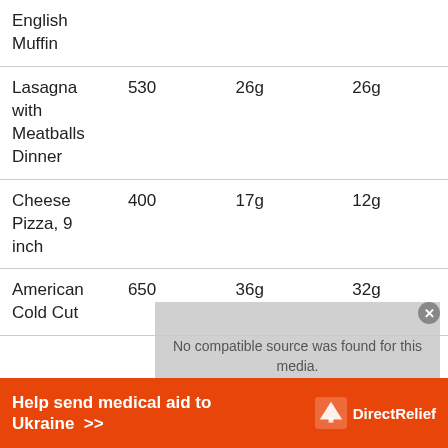| Food | Calories | Protein | Fat |
| --- | --- | --- | --- |
| English Muffin |  |  |  |
| Lasagna with Meatballs Dinner | 530 | 26g | 26g |
| Cheese Pizza, 9 inch | 400 | 17g | 12g |
| American Cold Cut | 650 | 36g | 32g |
[Figure (other): Video overlay showing 'No compatible source was found for this media.' with close button]
[Figure (other): Advertisement banner: 'Help send medical aid to Ukraine >>' with Direct Relief logo on orange background]